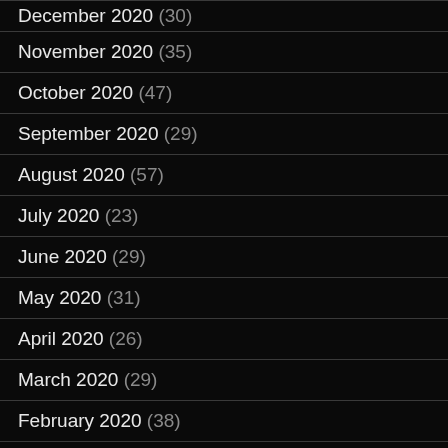December 2020 (30)
November 2020 (35)
October 2020 (47)
September 2020 (29)
August 2020 (57)
July 2020 (23)
June 2020 (29)
May 2020 (31)
April 2020 (26)
March 2020 (29)
February 2020 (38)
January 2020 (29)